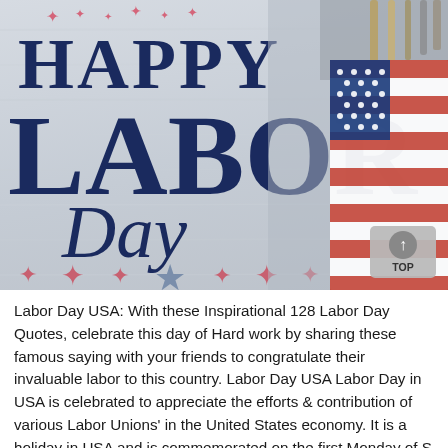[Figure (illustration): Happy Labor Day decorative image with large bold dark blue text reading 'HAPPY LABOR Day' on a light gray wood-textured background with red/blue stars, a ratchet wrench, screwdrivers, and an American flag on the right side.]
Labor Day USA: With these Inspirational 128 Labor Day Quotes, celebrate this day of Hard work by sharing these famous saying with your friends to congratulate their invaluable labor to this country. Labor Day USA Labor Day in USA is celebrated to appreciate the efforts & contribution of various Labor Unions' in the United States economy. It is a holiday in USA and is commemorated on the first Monday of September